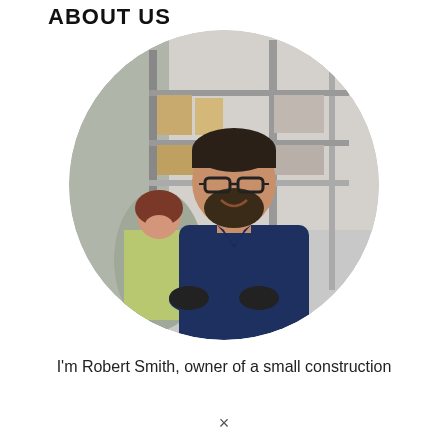ABOUT US
[Figure (photo): Circular cropped photo of a smiling bearded man with glasses wearing a dark navy polo shirt with arms crossed, in a warehouse setting with shelves and boxes in the background. A woman in a yellow-green vest is visible behind him.]
I'm Robert Smith, owner of a small construction